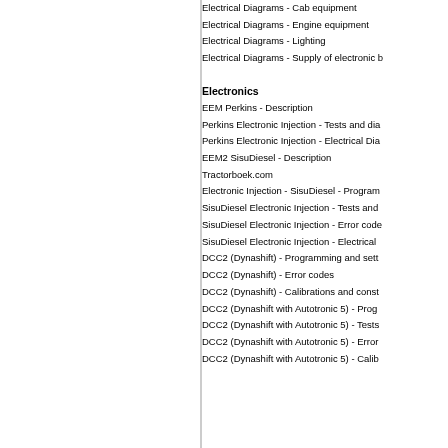Electrical Diagrams - Cab equipment
Electrical Diagrams - Engine equipment
Electrical Diagrams - Lighting
Electrical Diagrams - Supply of electronic b...
Electronics
EEM Perkins - Description
Perkins Electronic Injection - Tests and dia...
Perkins Electronic Injection - Electrical Dia...
EEM2 SisuDiesel - Description
Tractorboek.com
Electronic Injection - SisuDiesel - Program...
SisuDiesel Electronic Injection - Tests and...
SisuDiesel Electronic Injection - Error code...
SisuDiesel Electronic Injection - Electrical...
DCC2 (Dynashift) - Programming and sett...
DCC2 (Dynashift) - Error codes
DCC2 (Dynashift) - Calibrations and const...
DCC2 (Dynashift with Autotronic 5) - Prog...
DCC2 (Dynashift with Autotronic 5) - Tests...
DCC2 (Dynashift with Autotronic 5) - Error...
DCC2 (Dynashift with Autotronic 5) - Calib...